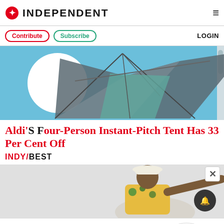INDEPENDENT
Contribute | Subscribe | LOGIN
[Figure (photo): Aldi Four-Person Instant-Pitch tent on blue background with white circle]
Aldi'S Four-Person Instant-Pitch Tent Has 33 Per Cent Off
INDY/BEST
[Figure (photo): Man in white hat and colorful shirt pointing, gray background]
Essential news from around the world